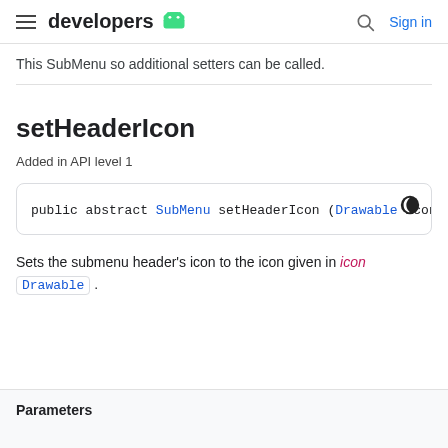developers [android logo] | [search] Sign in
This SubMenu so additional setters can be called.
setHeaderIcon
Added in API level 1
public abstract SubMenu setHeaderIcon (Drawable icon
Sets the submenu header's icon to the icon given in icon Drawable .
Parameters